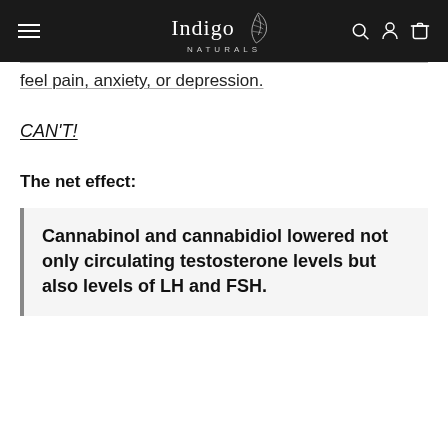Indigo Naturals
feel pain, anxiety, or depression.
CAN'T!
The net effect:
Cannabinol and cannabidiol lowered not only circulating testosterone levels but also levels of LH and FSH.